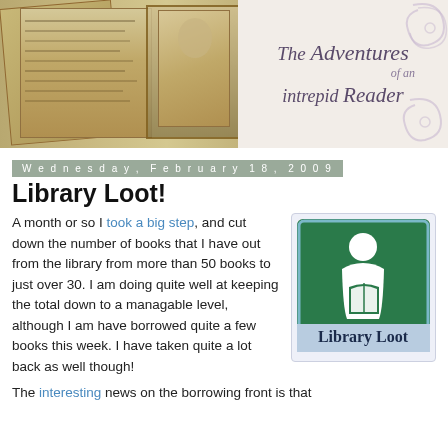[Figure (illustration): Blog header banner with vintage photo on the left (old photograph and handwritten journal) and decorative text on the right reading 'The Adventures of an intrepid Reader' in italic script on a light beige background with floral swirl decorations]
Wednesday, February 18, 2009
Library Loot!
A month or so I took a big step, and cut down the number of books that I have out from the library from more than 50 books to just over 30. I am doing quite well at keeping the total down to a managable level, although I am have borrowed quite a few books this week. I have taken quite a lot back as well though!
[Figure (logo): Library Loot sign image: green square sign with white pictogram of a person reading a book, with 'Library Loot' text below on a light blue background]
The interesting news on the borrowing front is that